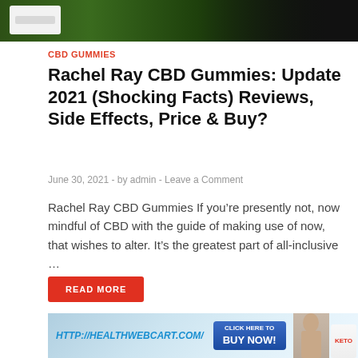[Figure (photo): Top banner image showing a plate of food/vegetables on dark background]
CBD GUMMIES
Rachel Ray CBD Gummies: Update 2021 (Shocking Facts) Reviews, Side Effects, Price & Buy?
June 30, 2021  -  by admin  -  Leave a Comment
Rachel Ray CBD Gummies If you’re presently not, now mindful of CBD with the guide of making use of now, that wishes to alter. It’s the greatest part of all-inclusive …
READ MORE
[Figure (photo): Advertisement banner for healthwebcart.com with woman smiling, blue Buy Now button, and Keto product]